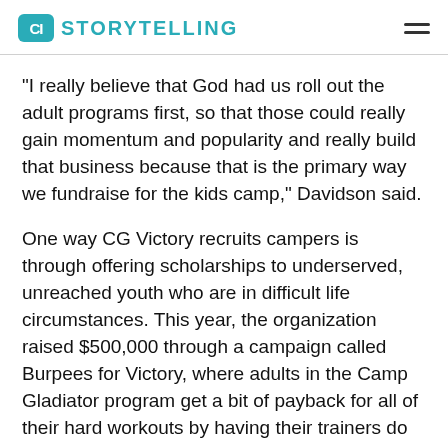CI STORYTELLING
"I really believe that God had us roll out the adult programs first, so that those could really gain momentum and popularity and really build that business because that is the primary way we fundraise for the kids camp," Davidson said.
One way CG Victory recruits campers is through offering scholarships to underserved, unreached youth who are in difficult life circumstances. This year, the organization raised $500,000 through a campaign called Burpees for Victory, where adults in the Camp Gladiator program get a bit of payback for all of their hard workouts by having their trainers do burpees.